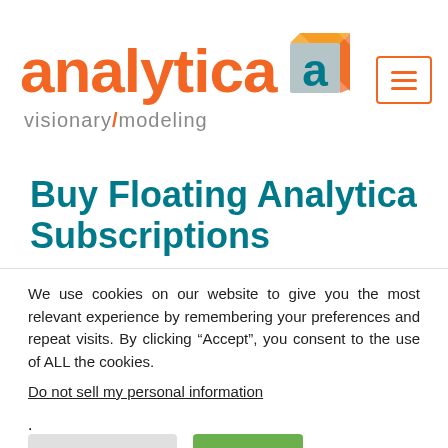[Figure (logo): Analytica 'visionary modeling' logo with orange text and 3D cube graphic, plus a hamburger menu button with orange border]
Buy Floating Analytica Subscriptions
We use cookies on our website to give you the most relevant experience by remembering your preferences and repeat visits. By clicking “Accept”, you consent to the use of ALL the cookies.
Do not sell my personal information.